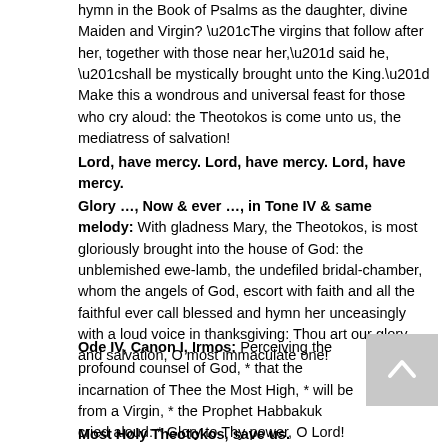hymn in the Book of Psalms as the daughter, divine Maiden and Virgin? “The virgins that follow after her, together with those near her,” said he, “shall be mystically brought unto the King.” Make this a wondrous and universal feast for those who cry aloud: the Theotokos is come unto us, the mediatress of salvation!
Lord, have mercy. Lord, have mercy. Lord, have mercy.
Glory …, Now & ever …, in Tone IV & same melody: With gladness Mary, the Theotokos, is most gloriously brought into the house of God: the unblemished ewe-lamb, the undefiled bridal-chamber, whom the angels of God, escort with faith and all the faithful ever call blessed and hymn her unceasingly with a loud voice in thanksgiving: Thou art our glory and salvation, O most immaculate one!
Ode IV, Canon I, Irmos: Perceiving the profound counsel of God, * that the incarnation of Thee the Most High, * will be from a Virgin, * the Prophet Habbakuk cried aloud: * Glory to Thy power, O Lord!
Most Holy Theotokos, save us.
The Temple of God, receiving today the portal through whom